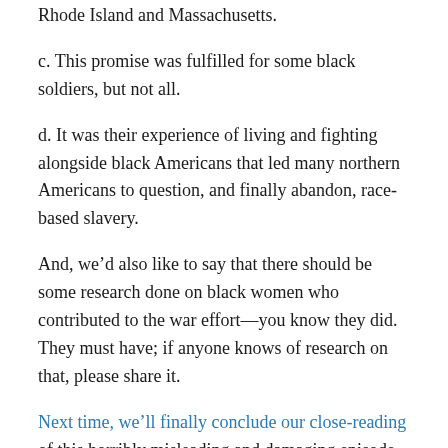Rhode Island and Massachusetts.
c. This promise was fulfilled for some black soldiers, but not all.
d. It was their experience of living and fighting alongside black Americans that led many northern Americans to question, and finally abandon, race-based slavery.
And, we’d also like to say that there should be some research done on black women who contributed to the war effort—you know they did. They must have; if anyone knows of research on that, please share it.
Next time, we’ll finally conclude our close-reading of this horribly misleading and damaging episode by